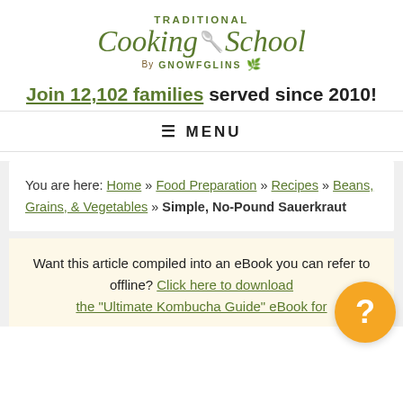[Figure (logo): Traditional Cooking School by GNOWFGLINS logo with green script text and spoon icon]
Join 12,102 families served since 2010!
≡ MENU
You are here: Home » Food Preparation » Recipes » Beans, Grains, & Vegetables » Simple, No-Pound Sauerkraut
Want this article compiled into an eBook you can refer to offline? Click here to download the "Ultimate Kombucha Guide" eBook for